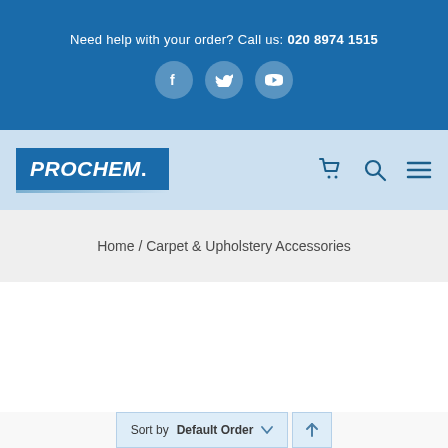Need help with your order? Call us: 020 8974 1515
[Figure (logo): Social media icons: Facebook, Twitter, YouTube in circular buttons]
[Figure (logo): Prochem logo in blue rectangle]
[Figure (infographic): Navigation icons: cart, search, hamburger menu]
Home / Carpet & Upholstery Accessories
Sort by Default Order